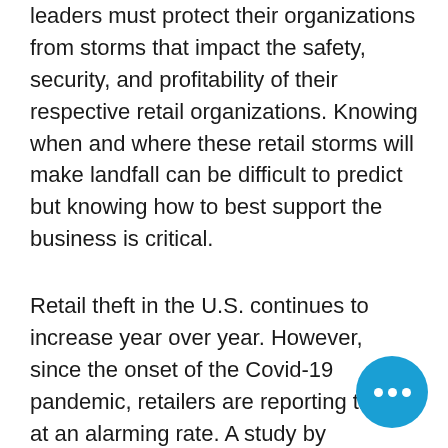leaders must protect their organizations from storms that impact the safety, security, and profitability of their respective retail organizations. Knowing when and where these retail storms will make landfall can be difficult to predict but knowing how to best support the business is critical.
Retail theft in the U.S. continues to increase year over year. However, since the onset of the Covid-19 pandemic, retailers are reporting thefts at an alarming rate. A study by Business.org shows that 40% of small-business owners say shoplifting has increased since the beginning of the pandemic. The National Retail Federation (NRF) survey found 75% of loss prevention